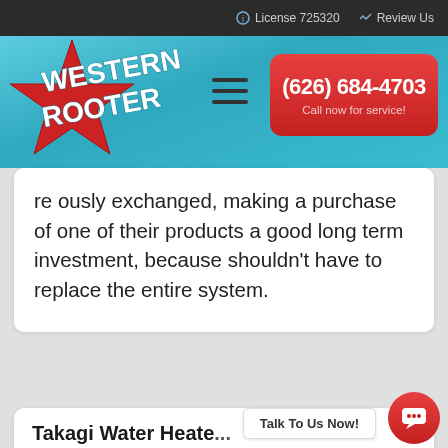License 725320   Review Us
[Figure (logo): Western Rooter logo with red star and teal banner header with phone number (626) 684-4703 and Call now for service!]
re ously exchanged, making a purchase of one of their products a good long term investment, because shouldn't have to replace the entire system.
Takagi Water Heate...
Talk To Us Now!